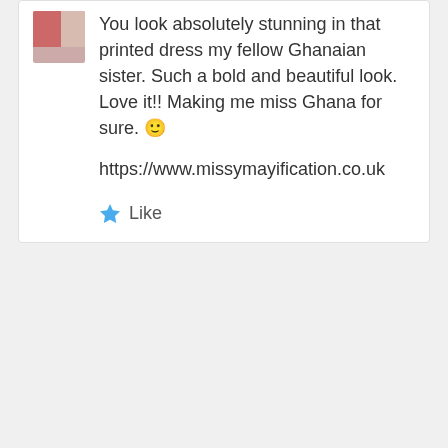[Figure (photo): Small avatar thumbnail showing a partial image with red and white colors]
You look absolutely stunning in that printed dress my fellow Ghanaian sister. Such a bold and beautiful look. Love it!! Making me miss Ghana for sure. 🙂
https://www.missymayification.co.uk
★ Like